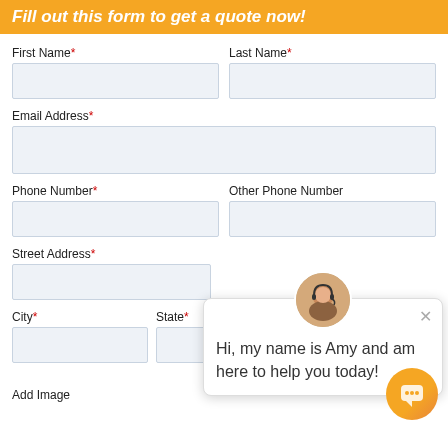Fill out this form to get a quote now!
First Name*
Last Name*
Email Address*
Phone Number*
Other Phone Number
Street Address*
City*
State*
Zipcode
Hi, my name is Amy and am here to help you today!
Instructi...
Add Image